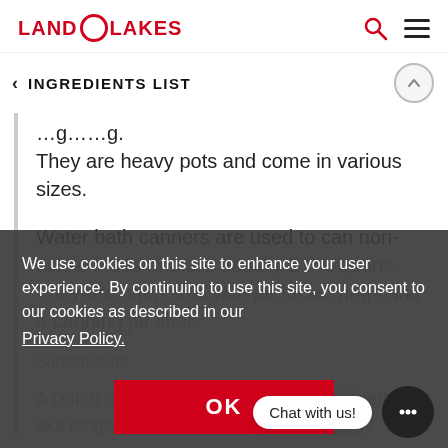LAND O LAKES
INGREDIENTS LIST
They are heavy pots and come in various sizes.
Water bath canners are used to can non-acidic foods and are usually 21 ½ quarts. They are often sold with jar locks, rings and a canning jar lifter.
Substitutions
A Dutch oven or large pot will work for most heating methods, but will take longer.
We use cookies on this site to enhance your user experience. By continuing to use this site, you consent to our cookies as described in our Privacy Policy.